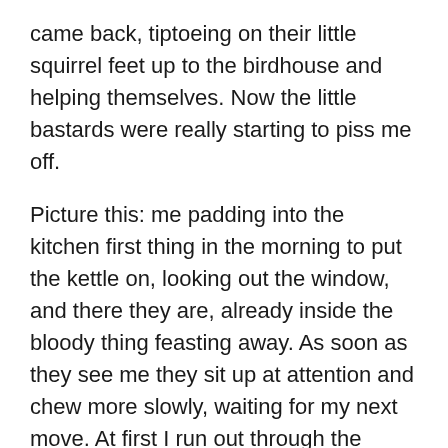came back, tiptoeing on their little squirrel feet up to the birdhouse and helping themselves. Now the little bastards were really starting to piss me off.
Picture this: me padding into the kitchen first thing in the morning to put the kettle on, looking out the window, and there they are, already inside the bloody thing feasting away. As soon as they see me they sit up at attention and chew more slowly, waiting for my next move. At first I run out through the garage and yell at them, but that takes too long because I have to raise up the garage door.  So I start running across the kitchen to the sliding door and outside where I yell at them from the corner of the house.  Sometimes I  pick up a few pine cones to throw at them, just for emphasis. (All the while I'm praying my neighbors don't see me.) The squirrels leap into the trees or hide in the bushes under the bird house.  But sooner or later they